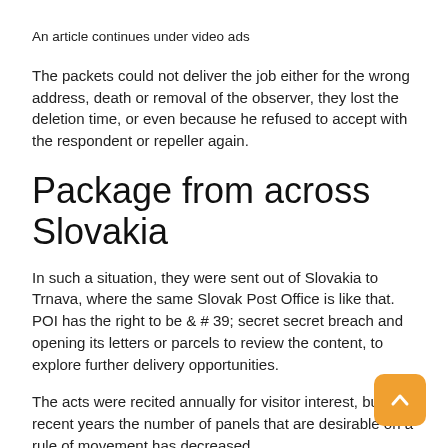An article continues under video ads
The packets could not deliver the job either for the wrong address, death or removal of the observer, they lost the deletion time, or even because he refused to accept with the respondent or repeller again.
Package from across Slovakia
In such a situation, they were sent out of Slovakia to Trnava, where the same Slovak Post Office is like that. POI has the right to be & # 39; secret secret breach and opening its letters or parcels to review the content, to explore further delivery opportunities.
The acts were recited annually for visitor interest, but in recent years the number of panels that are desirable on a rule of movement has decreased.